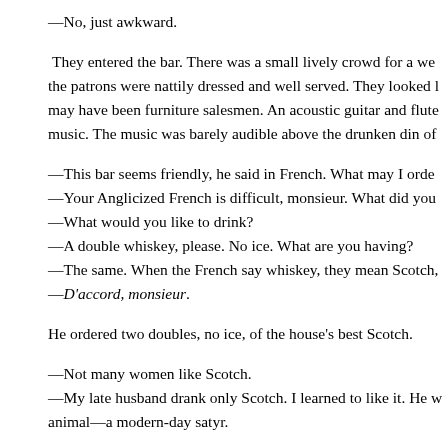—No, just awkward.
They entered the bar. There was a small lively crowd for a we the patrons were nattily dressed and well served. They looked l may have been furniture salesmen. An acoustic guitar and flute music. The music was barely audible above the drunken din of
—This bar seems friendly, he said in French. What may I orde
—Your Anglicized French is difficult, monsieur. What did you
—What would you like to drink?
—A double whiskey, please. No ice. What are you having?
—The same. When the French say whiskey, they mean Scotch,
—D'accord, monsieur.
He ordered two doubles, no ice, of the house's best Scotch.
—Not many women like Scotch.
—My late husband drank only Scotch. I learned to like it. He w animal—a modern-day satyr.
Well, that was a conversation stopper. They sat without talking to be sitting in a warm place, but she didn't remove her coat. Sh